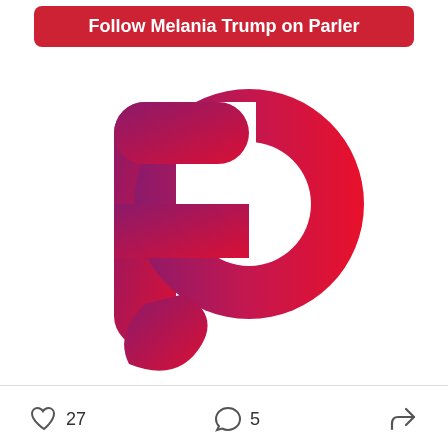Follow Melania Trump on Parler
[Figure (logo): Parler app logo — stylized letter P with gradient from dark magenta/purple on the left to bright red on the right, on white background]
27
5